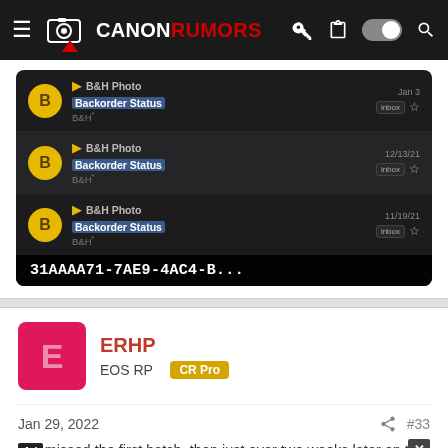CANON RUMORS
[Figure (screenshot): Screenshot of email inbox showing three B&H Photo Backorder Status emails dated Jan 3, 12/13/21, and 11/19/21, with a UUID bar at bottom reading 31AAAA71-7AE9-4AC4-B...]
ERHP
EOS RP  CR Pro
Jan 29, 2022  #33
Somehow missed the first batch, then just over two weeks later on the night I arrived in FL I got an email from B&H saying it was being prepped for shipment to CA. Fortunately they were able to